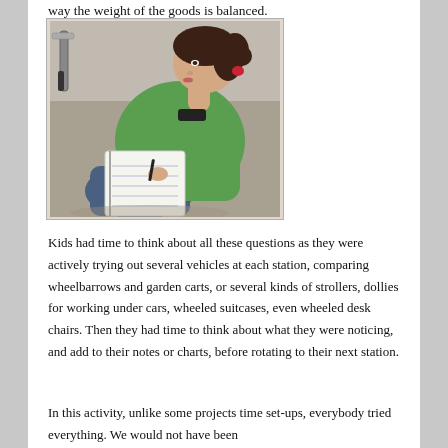way the weight of the goods is balanced.
[Figure (photo): A girl wearing a green hoodie sits on the ground and writes in a notebook, appearing to record observations during an outdoor activity.]
Kids had time to think about all these questions as they were actively trying out several vehicles at each station, comparing wheelbarrows and garden carts, or several kinds of strollers, dollies for working under cars, wheeled suitcases, even wheeled desk chairs. Then they had time to think about what they were noticing, and add to their notes or charts, before rotating to their next station.
In this activity, unlike some projects time set-ups, everybody tried everything. We would not have been